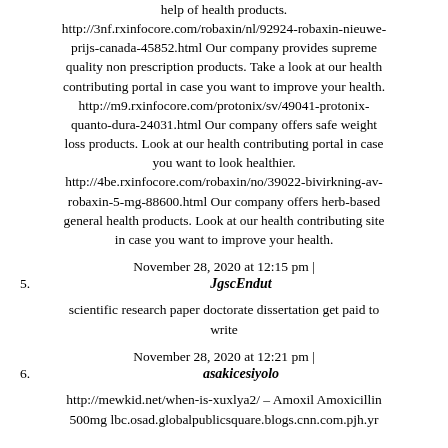help of health products. http://3nf.rxinfocore.com/robaxin/nl/92924-robaxin-nieuwe-prijs-canada-45852.html Our company provides supreme quality non prescription products. Take a look at our health contributing portal in case you want to improve your health. http://m9.rxinfocore.com/protonix/sv/49041-protonix-quanto-dura-24031.html Our company offers safe weight loss products. Look at our health contributing portal in case you want to look healthier. http://4be.rxinfocore.com/robaxin/no/39022-bivirkning-av-robaxin-5-mg-88600.html Our company offers herb-based general health products. Look at our health contributing site in case you want to improve your health.
November 28, 2020 at 12:15 pm |
5. JgscEndut
scientific research paper doctorate dissertation get paid to write
November 28, 2020 at 12:21 pm |
6. asakicesiyolo
http://mewkid.net/when-is-xuxlya2/ – Amoxil Amoxicillin 500mg lbc.osad.globalpublicsquare.blogs.cnn.com.pjh.yr